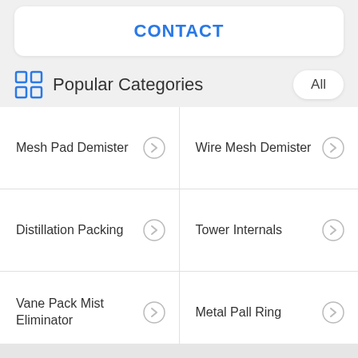CONTACT
Popular Categories
Mesh Pad Demister
Wire Mesh Demister
Distillation Packing
Tower Internals
Vane Pack Mist Eliminator
Metal Pall Ring
Metal Random Packing
Knitted Wire Mesh